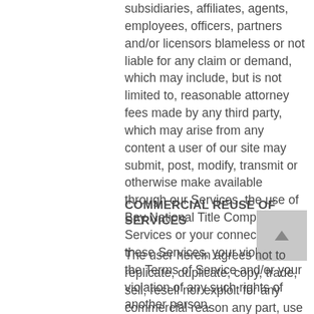subsidiaries, affiliates, agents, employees, officers, partners and/or licensors blameless or not liable for any claim or demand, which may include, but is not limited to, reasonable attorney fees made by any third party, which may arise from any content a user of our site may submit, post, modify, transmit or otherwise make available through our Services, the use of Bay National Title Company Services or your connection with these Services, your violations of the Terms of Service and/or your violation of any such rights of another person.
COMMERCIAL REUSE OF SERVICES
The user herein agrees not to replicate, duplicate, copy, trade, sell, resell nor exploit for any commercial reason any part, use of, or access to Bay National Title Company's